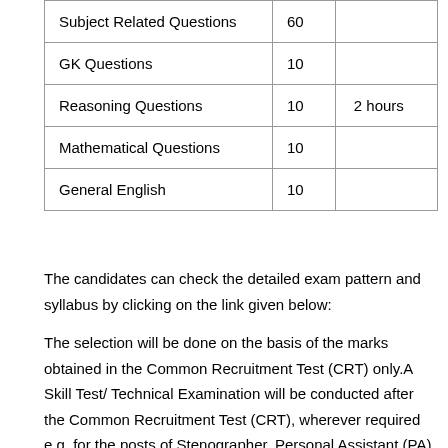| Subject Related Questions | 60 |  |
| GK Questions | 10 |  |
| Reasoning Questions | 10 | 2 hours |
| Mathematical Questions | 10 |  |
| General English | 10 |  |
The candidates can check the detailed exam pattern and syllabus by clicking on the link given below:
The selection will be done on the basis of the marks obtained in the Common Recruitment Test (CRT) only.A Skill Test/ Technical Examination will be conducted after the Common Recruitment Test (CRT), wherever required e.g. for the posts of Stenographer, Personal Assistant (PA), Lower Division Assistant (LDA) at present.
The candidates should be fulfilling the age criteria for the